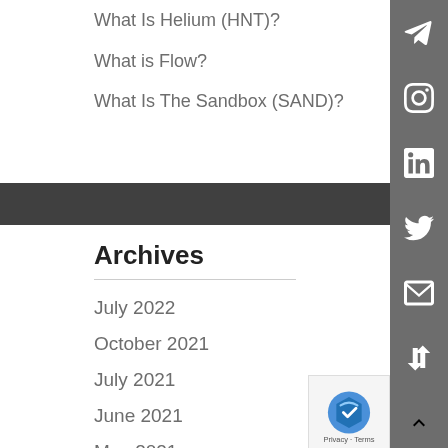What Is Helium (HNT)?
What is Flow?
What Is The Sandbox (SAND)?
Archives
July 2022
October 2021
July 2021
June 2021
May 2021
April 2021
March 2021